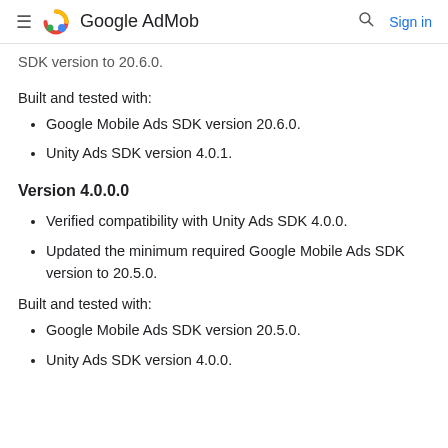Google AdMob
SDK version to 20.6.0.
Built and tested with:
Google Mobile Ads SDK version 20.6.0.
Unity Ads SDK version 4.0.1.
Version 4.0.0.0
Verified compatibility with Unity Ads SDK 4.0.0.
Updated the minimum required Google Mobile Ads SDK version to 20.5.0.
Built and tested with:
Google Mobile Ads SDK version 20.5.0.
Unity Ads SDK version 4.0.0.